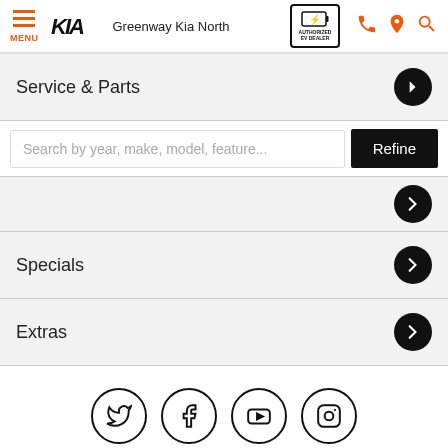Greenway Kia North — Authorized EV Dealer — MENU
Service & Parts
Search by year, make, model, feature...
Specials
Extras
[Figure (infographic): Social media icons: Twitter, Facebook, YouTube, Instagram — each in a circle outline]
This site   k
Chat Live
Text Us